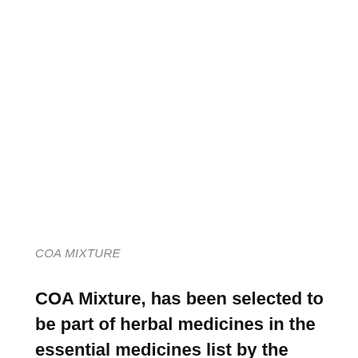COA MIXTURE
COA Mixture, has been selected to be part of herbal medicines in the essential medicines list by the Ministry of health to be administered in the mainstream health